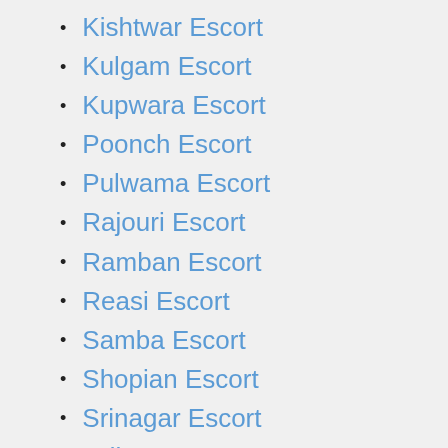Kishtwar Escort
Kulgam Escort
Kupwara Escort
Poonch Escort
Pulwama Escort
Rajouri Escort
Ramban Escort
Reasi Escort
Samba Escort
Shopian Escort
Srinagar Escort
Udhampur Escort
Lakshadweep Escort
Ladakh Escort
Kargil Escort
Leh Escort
Puducherry Escort
Karaikal Escort